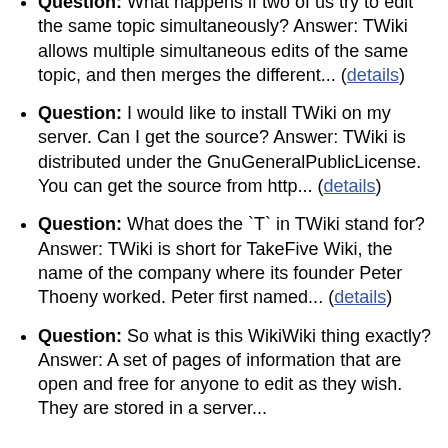Question: What happens if two of us try to edit the same topic simultaneously? Answer: TWiki allows multiple simultaneous edits of the same topic, and then merges the different... (details)
Question: I would like to install TWiki on my server. Can I get the source? Answer: TWiki is distributed under the GnuGeneralPublicLicense. You can get the source from http... (details)
Question: What does the `T` in TWiki stand for? Answer: TWiki is short for TakeFive Wiki, the name of the company where its founder Peter Thoeny worked. Peter first named... (details)
Question: So what is this WikiWiki thing exactly? Answer: A set of pages of information that are open and free for anyone to edit as they wish. They are stored in a server...